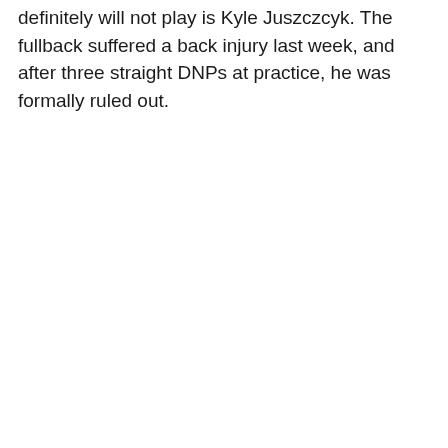definitely will not play is Kyle Juszczcyk. The fullback suffered a back injury last week, and after three straight DNPs at practice, he was formally ruled out.